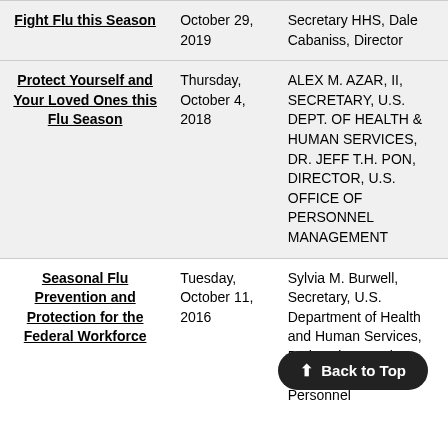| Title | Date | Signatories |
| --- | --- | --- |
| Fight Flu this Season | October 29, 2019 | Secretary HHS, Dale Cabaniss, Director |
| Protect Yourself and Your Loved Ones this Flu Season | Thursday, October 4, 2018 | ALEX M. AZAR, II, SECRETARY, U.S. DEPT. OF HEALTH & HUMAN SERVICES, DR. JEFF T.H. PON, DIRECTOR, U.S. OFFICE OF PERSONNEL MANAGEMENT |
| Seasonal Flu Prevention and Protection for the Federal Workforce | Tuesday, October 11, 2016 | Sylvia M. Burwell, Secretary, U.S. Department of Health and Human Services, Beth Cobert, Acting Director, U.S. Office of Personnel Management |